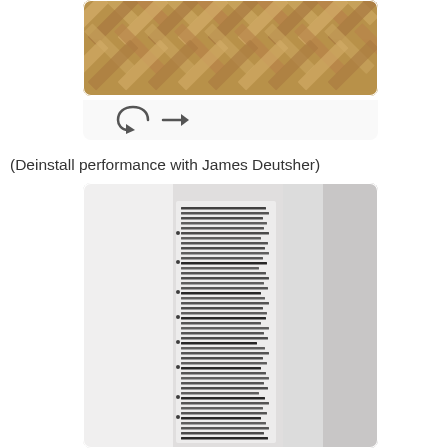[Figure (photo): Herringbone wood parquet floor photographed from above, showing a brown/tan chevron pattern]
[Figure (other): Navigation arrows: a back (undo/reload) arrow and a forward arrow]
(Deinstall performance with James Deutsher)
[Figure (photo): Photo of a white wall with a narrow vertical strip of handwritten or printed text attached to it, the text is partially legible]